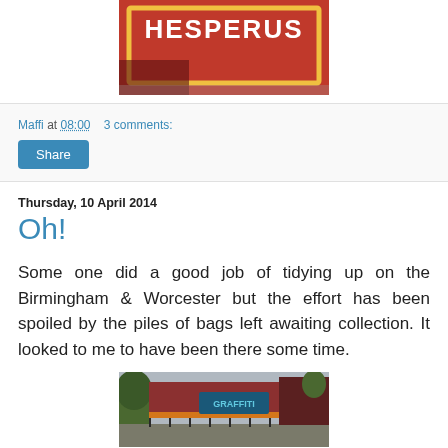[Figure (photo): Partial view of a red sign with yellow border reading 'HESPERUS', mounted on a canal boat or similar structure]
Maffi at 08:00   3 comments:
[Figure (other): Share button]
Thursday, 10 April 2014
Oh!
Some one did a good job of tidying up on the Birmingham & Worcester but the effort has been spoiled by the piles of bags left awaiting collection. It looked to me to have been there some time.
[Figure (photo): Outdoor scene showing trees, graffiti on a wall or container, and a fence, likely along a canal]